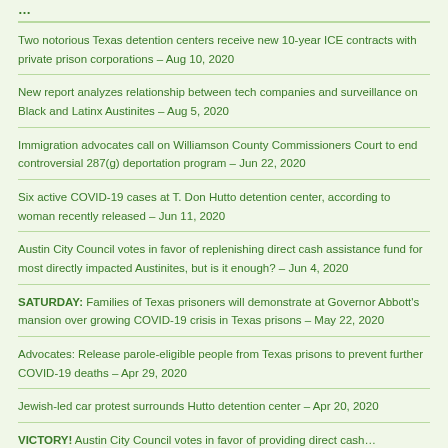Two notorious Texas detention centers receive new 10-year ICE contracts with private prison corporations – Aug 10, 2020
New report analyzes relationship between tech companies and surveillance on Black and Latinx Austinites – Aug 5, 2020
Immigration advocates call on Williamson County Commissioners Court to end controversial 287(g) deportation program – Jun 22, 2020
Six active COVID-19 cases at T. Don Hutto detention center, according to woman recently released – Jun 11, 2020
Austin City Council votes in favor of replenishing direct cash assistance fund for most directly impacted Austinites, but is it enough? – Jun 4, 2020
SATURDAY: Families of Texas prisoners will demonstrate at Governor Abbott's mansion over growing COVID-19 crisis in Texas prisons – May 22, 2020
Advocates: Release parole-eligible people from Texas prisons to prevent further COVID-19 deaths – Apr 29, 2020
Jewish-led car protest surrounds Hutto detention center – Apr 20, 2020
VICTORY! Austin City Council votes in favor of providing direct cash…